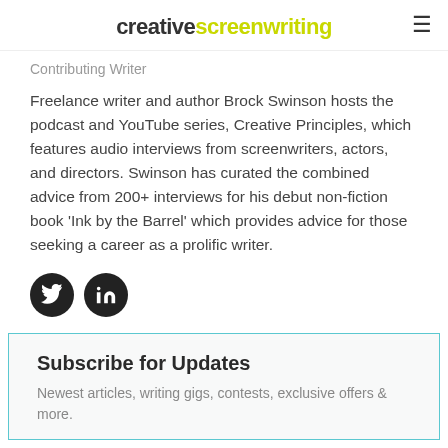creative screenwriting
Contributing Writer
Freelance writer and author Brock Swinson hosts the podcast and YouTube series, Creative Principles, which features audio interviews from screenwriters, actors, and directors. Swinson has curated the combined advice from 200+ interviews for his debut non-fiction book 'Ink by the Barrel' which provides advice for those seeking a career as a prolific writer.
[Figure (infographic): Two circular social media icons: Twitter (bird icon) and LinkedIn (in icon), dark/black circles with white icons]
Subscribe for Updates
Newest articles, writing gigs, contests, exclusive offers & more.